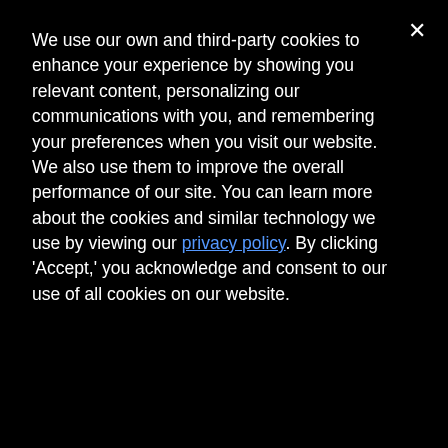We use our own and third-party cookies to enhance your experience by showing you relevant content, personalizing our communications with you, and remembering your preferences when you visit our website. We also use them to improve the overall performance of our site. You can learn more about the cookies and similar technology we use by viewing our privacy policy. By clicking 'Accept,' you acknowledge and consent to our use of all cookies on our website.
Accept
identifiable information (PII). It would serve as an essential protection to agencies; this resulted
0
SHARES